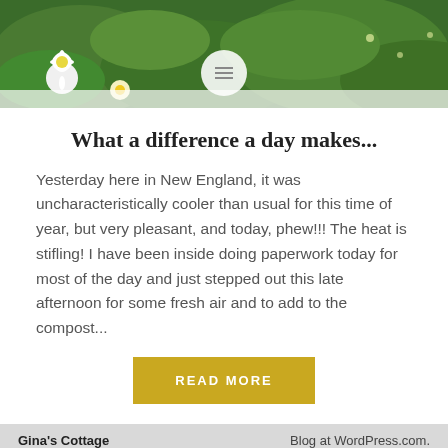[Figure (photo): Header banner photo of green leaves and white daisy flowers with a circular menu icon overlay in the center]
What a difference a day makes...
Yesterday here in New England, it was uncharacteristically cooler than usual for this time of year, but very pleasant, and today, phew!!! The heat is stifling! I have been inside doing paperwork today for most of the day and just stepped out this late afternoon for some fresh air and to add to the compost...
READ MORE
Gina's Cottage   Blog at WordPress.com.